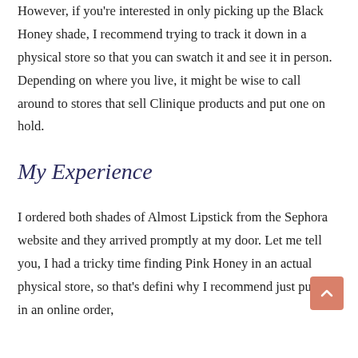However, if you're interested in only picking up the Black Honey shade, I recommend trying to track it down in a physical store so that you can swatch it and see it in person. Depending on where you live, it might be wise to call around to stores that sell Clinique products and put one on hold.
My Experience
I ordered both shades of Almost Lipstick from the Sephora website and they arrived promptly at my door. Let me tell you, I had a tricky time finding Pink Honey in an actual physical store, so that's defini why I recommend just putting in an online order,